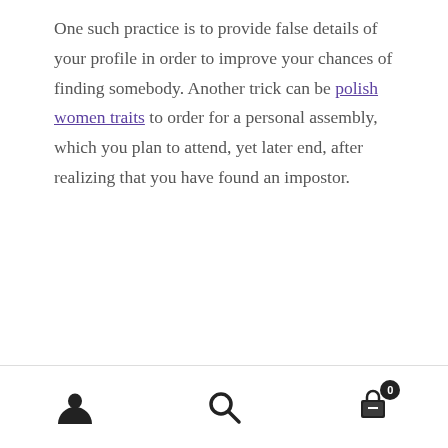One such practice is to provide false details of your profile in order to improve your chances of finding somebody. Another trick can be polish women traits to order for a personal assembly, which you plan to attend, yet later end, after realizing that you have found an impostor.
Category: Uncategorized
← UNITED STATES Mail Order Brides – A Great Way to Satisfy Someone By Another Nation
The Ins And Outs Of Granny Cameras →
[Figure (infographic): Footer navigation bar with three icons: a person/user icon, a search/magnifying glass icon, and a shopping cart icon with a badge showing '0'.]